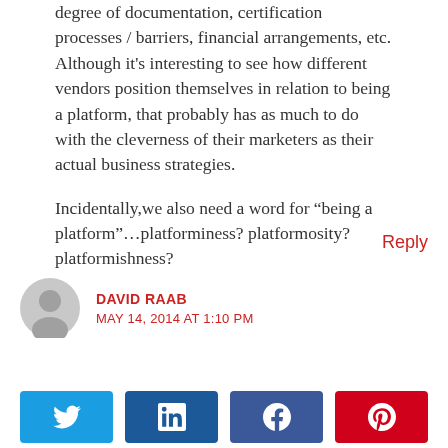degree of documentation, certification processes / barriers, financial arrangements, etc. Although it's interesting to see how different vendors position themselves in relation to being a platform, that probably has as much to do with the cleverness of their marketers as their actual business strategies.
Incidentally,we also need a word for “being a platform”…platforminess? platformosity? platformishness?
Reply
DAVID RAAB
MAY 14, 2014 AT 1:10 PM
[Figure (other): Social sharing buttons: Twitter (blue), LinkedIn (dark blue), Facebook (dark blue), Pinterest (red)]